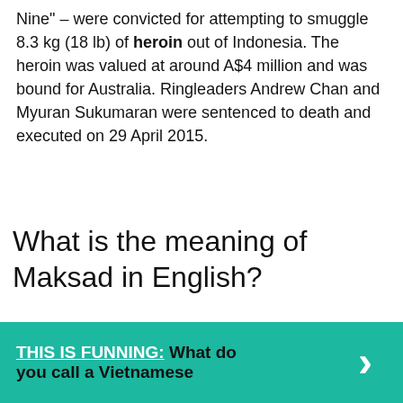Nine" – were convicted for attempting to smuggle 8.3 kg (18 lb) of heroin out of Indonesia. The heroin was valued at around A$4 million and was bound for Australia. Ringleaders Andrew Chan and Myuran Sukumaran were sentenced to death and executed on 29 April 2015.
What is the meaning of Maksad in English?
/makasada/ mn. ambition countable noun. If you have an ambition to achieve something, you want very much to achieve it.
THIS IS FUNNING:  What do you call a Vietnamese